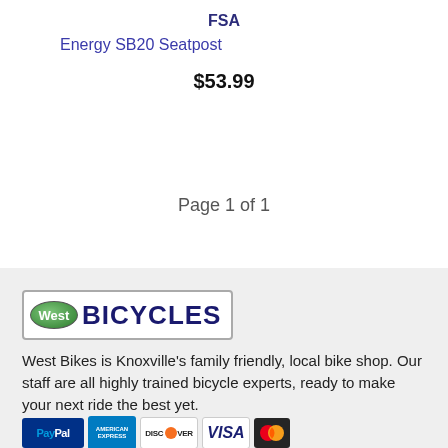FSA
Energy SB20 Seatpost
$53.99
Page 1 of 1
[Figure (logo): West Bicycles logo with green oval containing 'West' and bold navy text 'BICYCLES']
West Bikes is Knoxville's family friendly, local bike shop. Our staff are all highly trained bicycle experts, ready to make your next ride the best yet.
[Figure (other): Payment method icons: PayPal, American Express, Discover, Visa, Mastercard]